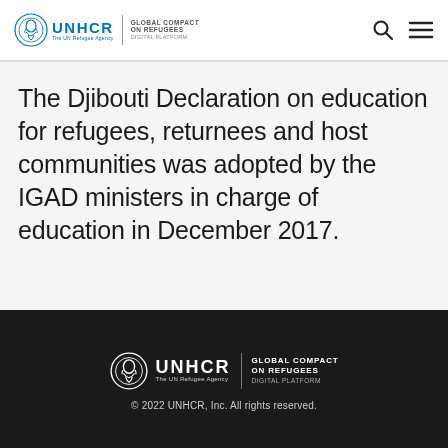UNHCR | GLOBAL COMPACT ON REFUGEES DIGITAL PLATFORM
The Djibouti Declaration on education for refugees, returnees and host communities was adopted by the IGAD ministers in charge of education in December 2017.
UNHCR | GLOBAL COMPACT ON REFUGEES DIGITAL PLATFORM
© 2022 UNHCR, Inc. All rights reserved.